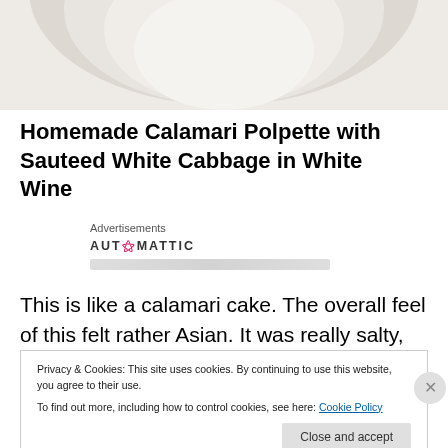[Figure (photo): Top portion of a food photograph showing a white plate or bowl with calamari polpette dish, light cream and beige tones]
Homemade Calamari Polpette with Sauteed White Cabbage in White Wine
Advertisements
AUTOMATTIC
This is like a calamari cake. The overall feel of this felt rather Asian. It was really salty, but still within my
Privacy & Cookies: This site uses cookies. By continuing to use this website, you agree to their use.
To find out more, including how to control cookies, see here: Cookie Policy
Close and accept